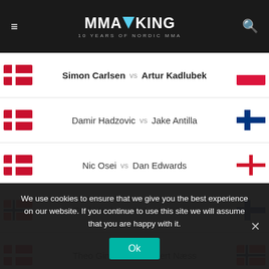MMAViking - 10 Years of Nordic MMA
| Flag1 | Fighter 1 | vs | Fighter 2 | Flag2 |
| --- | --- | --- | --- | --- |
| Denmark | Simon Carlsen | vs | Artur Kadlubek | Poland |
| Denmark | Damir Hadzovic | vs | Jake Antilla | Finland |
| Denmark | Nic Osei | vs | Dan Edwards | England |
| Norway | Emil Meek | vs | Aleksi Mäntykivi | Finland |
| Denmark | Theo Ginman | vs | Robert Næss | Norway |
“Royal Arena will become one of Scandinavia’s biggest sport
We use cookies to ensure that we give you the best experience on our website. If you continue to use this site we will assume that you are happy with it.